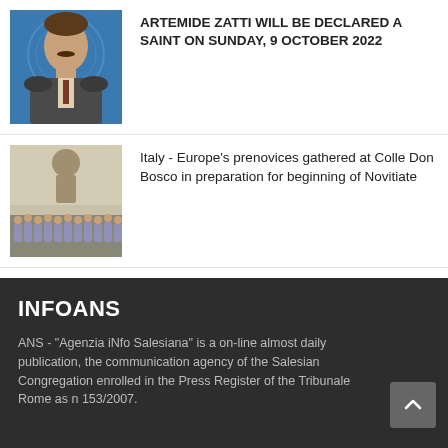[Figure (photo): Portrait photo of Artemide Zatti, man with mustache in suit, blue circular background]
ARTEMIDE ZATTI WILL BE DECLARED A SAINT ON SUNDAY, 9 OCTOBER 2022
[Figure (photo): Group photo of prenovices gathered at Colle Don Bosco with mural in background]
Italy - Europe's prenovices gathered at Colle Don Bosco in preparation for beginning of Novitiate
INFOANS
ANS - "Agenzia iNfo Salesiana" is a on-line almost daily publication, the communication agency of the Salesian Congregation enrolled in the Press Register of the Tribunale Rome as n 153/2007.